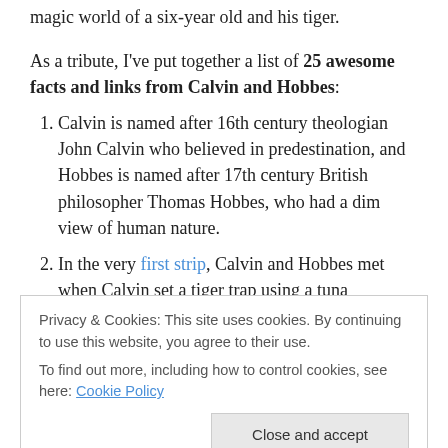magic world of a six-year old and his tiger.
As a tribute, I've put together a list of 25 awesome facts and links from Calvin and Hobbes:
Calvin is named after 16th century theologian John Calvin who believed in predestination, and Hobbes is named after 17th century British philosopher Thomas Hobbes, who had a dim view of human nature.
In the very first strip, Calvin and Hobbes met when Calvin set a tiger trap using a tuna sandwich. Watterson later said he regretted it, saying it was
Privacy & Cookies: This site uses cookies. By continuing to use this website, you agree to their use.
To find out more, including how to control cookies, see here: Cookie Policy
4. Author Bill Watterson has never given licensing